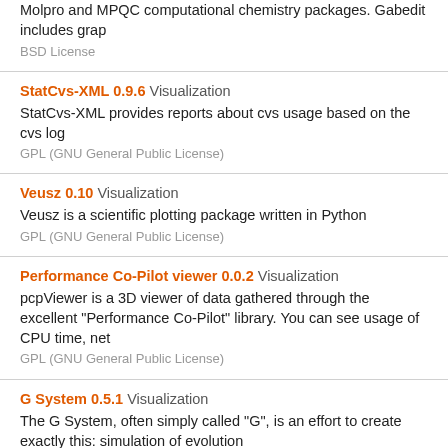Molpro and MPQC computational chemistry packages. Gabedit includes grap
BSD License
StatCvs-XML 0.9.6 Visualization
StatCvs-XML provides reports about cvs usage based on the cvs log
GPL (GNU General Public License)
Veusz 0.10 Visualization
Veusz is a scientific plotting package written in Python
GPL (GNU General Public License)
Performance Co-Pilot viewer 0.0.2 Visualization
pcpViewer is a 3D viewer of data gathered through the excellent "Performance Co-Pilot" library. You can see usage of CPU time, net
GPL (GNU General Public License)
G System 0.5.1 Visualization
The G System, often simply called "G", is an effort to create exactly this: simulation of evolution
GPL (GNU General Public License)